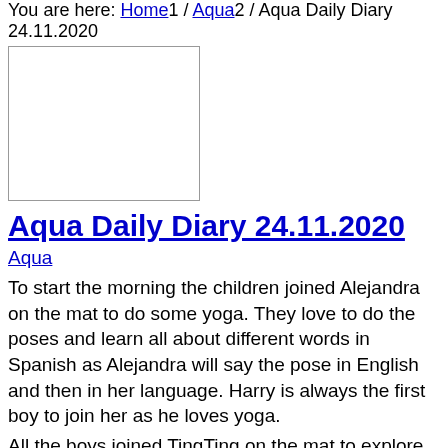You are here: Home1 / Aqua2 / Aqua Daily Diary 24.11.2020
[Figure (photo): Small broken/placeholder image thumbnail]
Aqua Daily Diary 24.11.2020
Aqua
To start the morning the children joined Alejandra on the mat to do some yoga. They love to do the poses and learn all about different words in Spanish as Alejandra will say the pose in English and then in her language. Harry is always the first boy to join her as he loves yoga.
All the boys joined TingTing on the mat to explore the cars. They love transporting them around the mat and enjoyed being with their peers.
They were lots of dancing happening today on the mat to Elsa, the